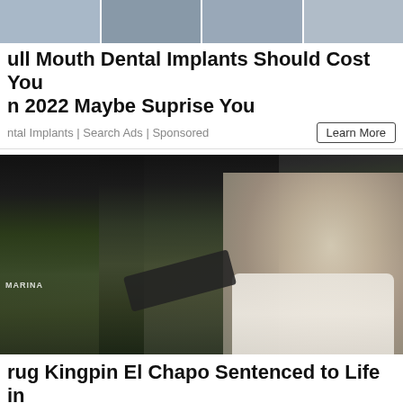[Figure (photo): Ad banner image strip showing dental implant related thumbnail photos]
ull Mouth Dental Implants Should Cost You in 2022 Maybe Suprise You
ntal Implants | Search Ads | Sponsored    Learn More
[Figure (photo): News photo showing El Chapo being escorted by masked armed officers in military/tactical gear]
rug Kingpin El Chapo Sentenced to Life in Prison, Must Forfeit $12.6 BillionDrug...
Mexican drug lord known as "El Chapo" was sentenced to...